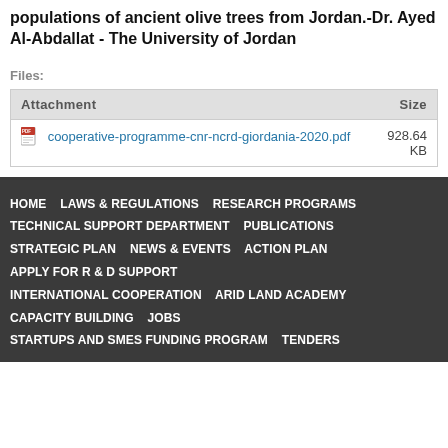populations of ancient olive trees from Jordan.-Dr. Ayed Al-Abdallat - The University of Jordan
Files:
| Attachment | Size |
| --- | --- |
| cooperative-programme-cnr-ncrd-giordania-2020.pdf | 928.64 KB |
HOME   LAWS & REGULATIONS   RESEARCH PROGRAMS   TECHNICAL SUPPORT DEPARTMENT   PUBLICATIONS   STRATEGIC PLAN   NEWS & EVENTS   ACTION PLAN   APPLY FOR R & D SUPPORT   INTERNATIONAL COOPERATION   ARID LAND ACADEMY   CAPACITY BUILDING   JOBS   STARTUPS AND SMES FUNDING PROGRAM   TENDERS